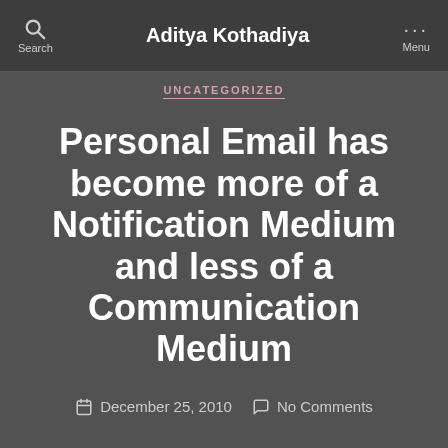Aditya Kothadiya
UNCATEGORIZED
Personal Email has become more of a Notification Medium and less of a Communication Medium
December 25, 2010  No Comments